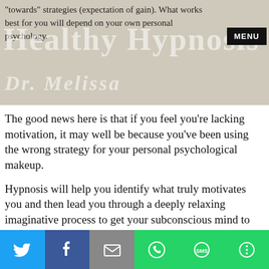"towards" strategies (expectation of gain). What works best for you will depend on your own personal psychology.
Healthy Hypnosis with Dr. Melissa
The good news here is that if you feel you're lacking motivation, it may well be because you've been using the wrong strategy for your personal psychological makeup.
Hypnosis will help you identify what truly motivates you and then lead you through a deeply relaxing imaginative process to get your subconscious mind to provide the motivation you need.
Social share bar: Twitter, Facebook, Email, WhatsApp, SMS, More